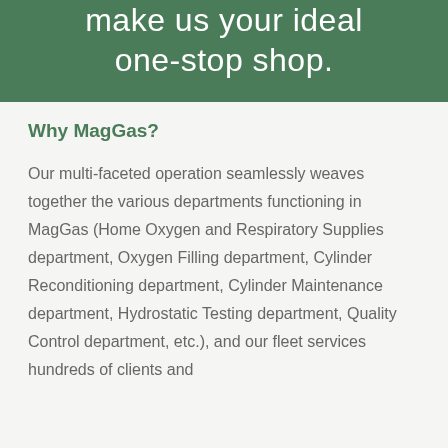make us your ideal one-stop shop.
Why MagGas?
Our multi-faceted operation seamlessly weaves together the various departments functioning in MagGas (Home Oxygen and Respiratory Supplies department, Oxygen Filling department, Cylinder Reconditioning department, Cylinder Maintenance department, Hydrostatic Testing department, Quality Control department, etc.), and our fleet services hundreds of clients and